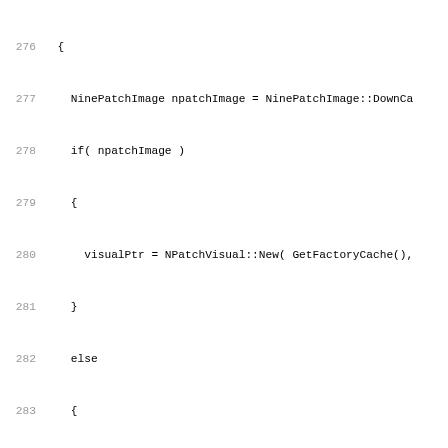[Figure (screenshot): Source code listing in C++ showing lines 276-307 of a visual factory implementation, including NinePatchImage handling, debug wireframe visual creation, and the beginning of a CreateVisual function with URL type switching.]